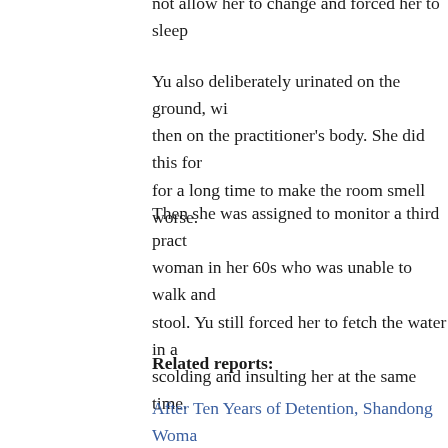not allow her to change and forced her to sleep
Yu also deliberately urinated on the ground, wi then on the practitioner’s body. She did this for for a long time to make the room smell worse.
Then she was assigned to monitor a third pract woman in her 60s who was unable to walk and stool. Yu still forced her to fetch the water in a scolding and insulting her at the same time.
Related reports:
After Ten Years of Detention, Shandong Woma
A Shandong Woman’s Defense: Falun Gong Ta
Ms. Li Li and Ms. Jiang Tao from Shandong Pr